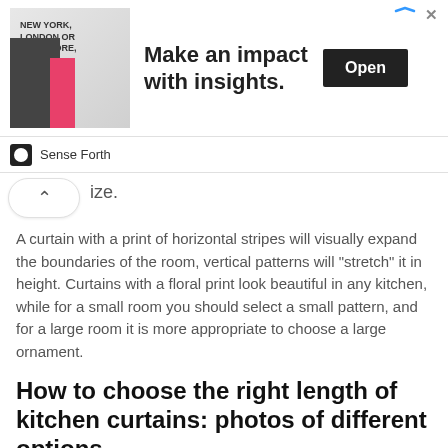[Figure (screenshot): Advertisement banner for 'Sense Forth' with text 'NEW YORK, LONDON OR SINGAPORE,' and 'Make an impact with insights.' with an Open button]
ize.
A curtain with a print of horizontal stripes will visually expand the boundaries of the room, vertical patterns will "stretch" it in height. Curtains with a floral print look beautiful in any kitchen, while for a small room you should select a small pattern, and for a large room it is more appropriate to choose a large ornament.
How to choose the right length of kitchen curtains: photos of different options
If you look at the pictures of curtains in the kitchen, then you can pay attention that most often they choose models of medium length that reach the windowsill. Deviations are usually no more than 30 cm. This